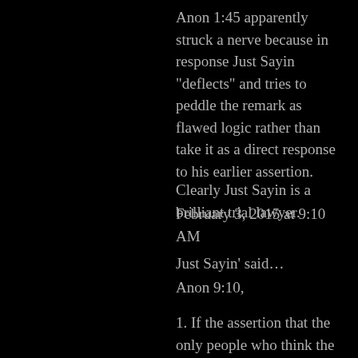Anon 1:45 apparently struck a nerve because in response Just Sayin "deflects" and tries to peddle the remark as flawed logic rather than take it as a direct response to his earlier assertion.
Clearly Just Sayin is a brilliant trial lawyer.
February 3, 2015 at 9:10 AM
Just Sayin' said…
Anon 9:10,
1. If the assertion that the only people who think the HCDAO is worse off today than it was under the Lykos administration are Leitner, Greenwood and Bridgwater then the logical extension would be that everyone else must, therefore, believe that the HCDAO is in fact better off today